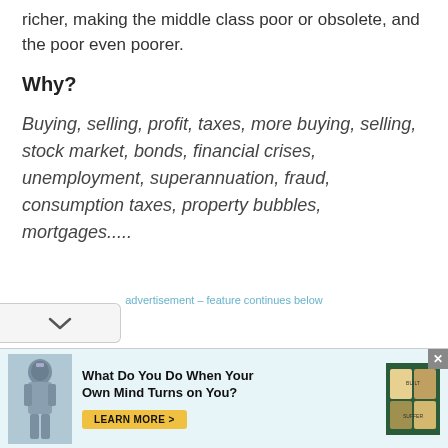richer, making the middle class poor or obsolete, and the poor even poorer.
Why?
Buying, selling, profit, taxes, more buying, selling, stock market, bonds, financial crises, unemployment, superannuation, fraud, consumption taxes, property bubbles, mortgages.....
advertisement – feature continues below
[Figure (infographic): Advertisement banner: knight in armor illustration on left, bold headline 'What Do You Do When Your Own Mind Turns on You?' with 'LEARN MORE >' button and book covers on the right, close button in top-right corner.]